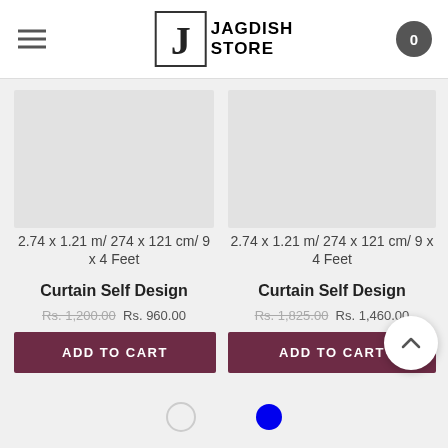JAGDISH STORE
2.74 x 1.21 m/ 274 x 121 cm/ 9 x 4 Feet
Curtain Self Design
Rs. 1,200.00  Rs. 960.00
ADD TO CART
2.74 x 1.21 m/ 274 x 121 cm/ 9 x 4 Feet
Curtain Self Design
Rs. 1,825.00  Rs. 1,460.00
ADD TO CART